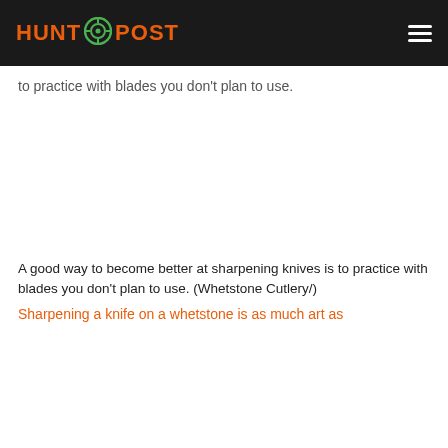HUNT POST
to practice with blades you don't plan to use.
[Figure (photo): White/blank image placeholder area]
A good way to become better at sharpening knives is to practice with blades you don't plan to use. (Whetstone Cutlery/)
Sharpening a knife on a whetstone is as much art as